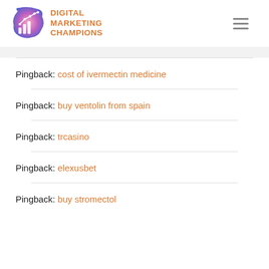[Figure (logo): Digital Marketing Champions logo with colorful blob icon and bar/line chart graphic]
Pingback: cost of ivermectin medicine
Pingback: buy ventolin from spain
Pingback: trcasino
Pingback: elexusbet
Pingback: buy stromectol